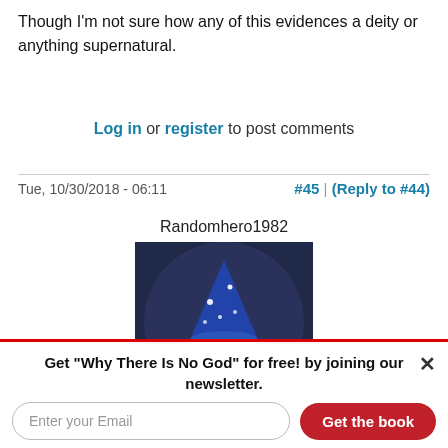Though I'm not sure how any of this evidences a deity or anything supernatural.
Log in or register to post comments
Tue, 10/30/2018 - 06:11   #45  |  (Reply to #44)
Randomhero1982
[Figure (photo): Profile avatar of user Randomhero1982 showing an old wizard with a blue star-covered hat and white beard, with a yellow/red sign partially visible in the background.]
Get "Why There Is No God" for free! by joining our newsletter.
Enter your Email
Get the book